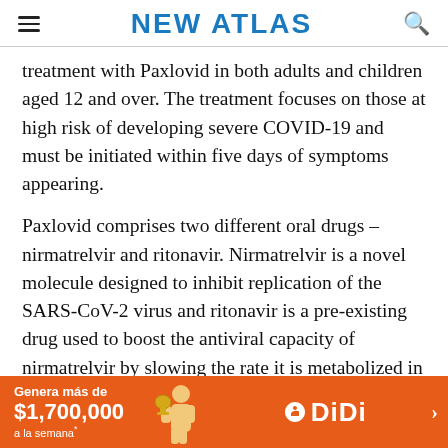NEW ATLAS
treatment with Paxlovid in both adults and children aged 12 and over. The treatment focuses on those at high risk of developing severe COVID-19 and must be initiated within five days of symptoms appearing.
Paxlovid comprises two different oral drugs – nirmatrelvir and ritonavir. Nirmatrelvir is a novel molecule designed to inhibit replication of the SARS-CoV-2 virus and ritonavir is a pre-existing drug used to boost the antiviral capacity of nirmatrelvir by slowing the rate it is metabolized in a human body. The treatment regime is three tablets (two nirmatrelvir and one ritonavir) twice daily for five da…
[Figure (other): Orange DiDi advertisement banner: 'Genera más de $1,700,000 a la semana* DiDi' with a person figure and chevron arrow]